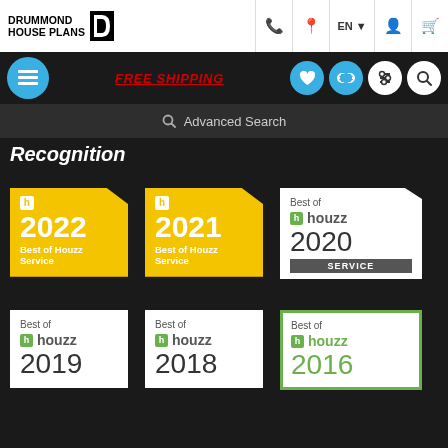DRUMMOND HOUSE PLANS
Recognition
[Figure (logo): Best of Houzz Service 2022 badge - yellow with white Houzz h logo]
[Figure (logo): Best of Houzz Service 2021 badge - yellow with white Houzz h logo]
[Figure (logo): Best of houzz 2020 SERVICE badge - white with green Houzz h logo]
[Figure (logo): Best of houzz 2019 badge - white with green Houzz h logo]
[Figure (logo): Best of houzz 2018 badge - white with green Houzz h logo]
[Figure (logo): Best of houzz 2016 badge - white with green border and green Houzz h logo]